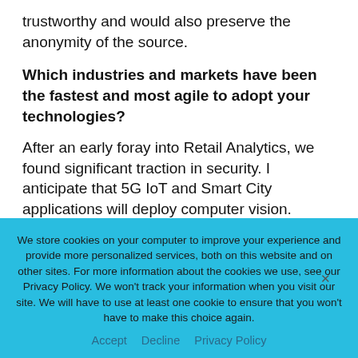trustworthy and would also preserve the anonymity of the source.
Which industries and markets have been the fastest and most agile to adopt your technologies?
After an early foray into Retail Analytics, we found significant traction in security. I anticipate that 5G IoT and Smart City applications will deploy computer vision.
We store cookies on your computer to improve your experience and provide more personalized services, both on this website and on other sites. For more information about the cookies we use, see our Privacy Policy. We won't track your information when you visit our site. We will have to use at least one cookie to ensure that you won't have to make this choice again.
Accept   Decline   Privacy Policy